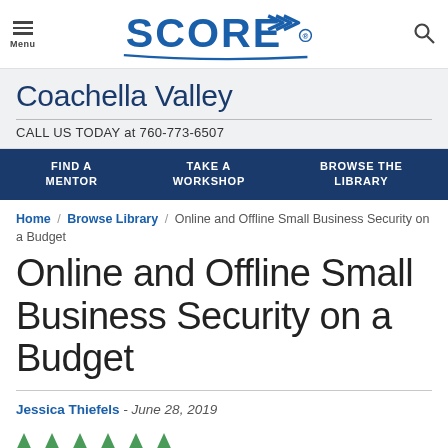SCORE — Coachella Valley
Coachella Valley
CALL US TODAY at 760-773-6507
FIND A MENTOR / TAKE A WORKSHOP / BROWSE THE LIBRARY
Home / Browse Library / Online and Offline Small Business Security on a Budget
Online and Offline Small Business Security on a Budget
Jessica Thiefels - June 28, 2019